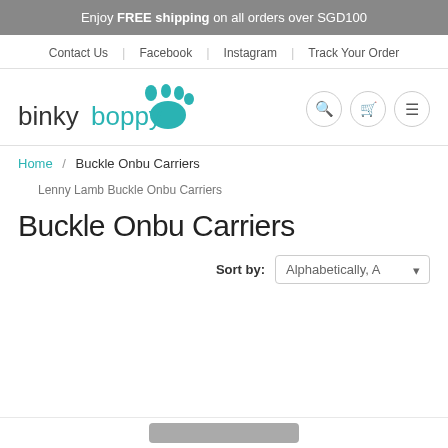Enjoy FREE shipping on all orders over SGD100
Contact Us | Facebook | Instagram | Track Your Order
[Figure (logo): Binky Boppy logo with teal footprint icon]
Home / Buckle Onbu Carriers
Lenny Lamb Buckle Onbu Carriers
Buckle Onbu Carriers
Sort by: Alphabetically, A